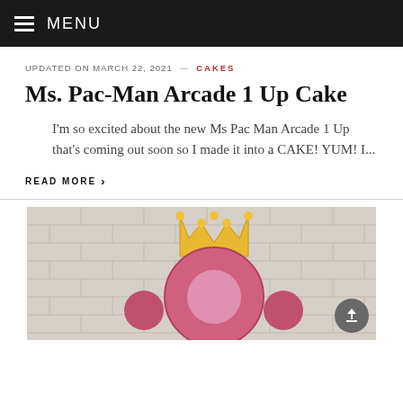≡ MENU
UPDATED ON MARCH 22, 2021 — CAKES
Ms. Pac-Man Arcade 1 Up Cake
I'm so excited about the new Ms Pac Man Arcade 1 Up that's coming out soon so I made it into a CAKE! YUM! I...
READ MORE ›
[Figure (photo): Photo of a colorful cake or figurine with a golden crown, pink body with raised fists, against a white brick wall background]